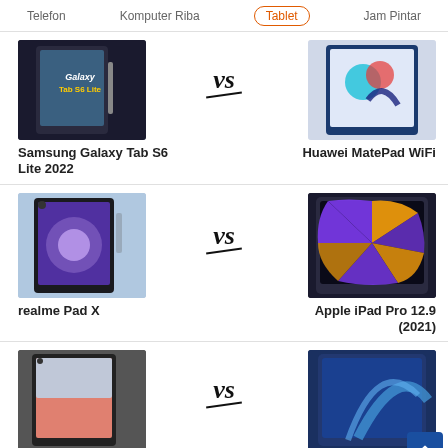Telefon   Komputer Riba   Tablet   Jam Pintar
[Figure (screenshot): Samsung Galaxy Tab S6 Lite 2022 vs Huawei MatePad WiFi comparison card]
Samsung Galaxy Tab S6 Lite 2022
Huawei MatePad WiFi
[Figure (screenshot): realme Pad X vs Apple iPad Pro 12.9 (2021) comparison card]
realme Pad X
Apple iPad Pro 12.9 (2021)
[Figure (screenshot): Oppo Pad Air vs Huawei MatePad comparison card (partially visible)]
Oppo Pad Air
Huawei MatePad